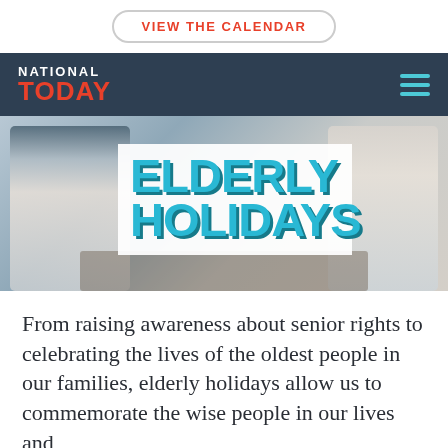VIEW THE CALENDAR
NATIONAL TODAY
[Figure (photo): Two elderly men playing chess outdoors, with text overlay 'ELDERLY HOLIDAYS' in large teal bold letters on white background]
ELDERLY HOLIDAYS
From raising awareness about senior rights to celebrating the lives of the oldest people in our families, elderly holidays allow us to commemorate the wise people in our lives and